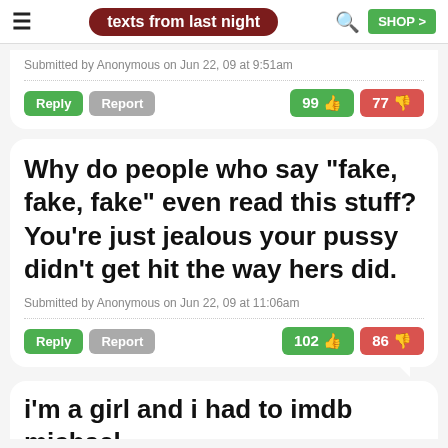texts from last night
Submitted by Anonymous on Jun 22, 09 at 9:51am
Reply  Report  99 👍  77 👎
Why do people who say "fake, fake, fake" even read this stuff? You're just jealous your pussy didn't get hit the way hers did.
Submitted by Anonymous on Jun 22, 09 at 11:06am
Reply  Report  102 👍  86 👎
i'm a girl and i had to imdb michael